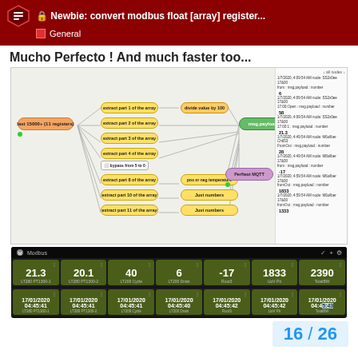🔒 Newbie: convert modbus float [array] register... General
Mucho Perfecto ! And much faster too...
[Figure (screenshot): Node-RED flow diagram showing modbus input node connected to multiple extract array nodes feeding into function nodes (divide value by 100, pos or neg temperature, just numbers), all connecting to a final output node and Perftest MQTT node. Right side shows debug panel with values: 6, 58, 21.3, 28, -17, 1833, 1333.]
[Figure (screenshot): Node-RED dashboard showing 7 gauge/value tiles: 21.3 (LT280 PT1300-1), 20.1 (LT280 PT1300-2), 40 (LT209 Cycle), 6 (LT200 Drain), -17 (Root3), 1833 (UoV Pit), 2390 (TotalBW). Second row shows date tiles all reading 17/01/2020 04:45:41 or similar timestamps.]
16 / 26